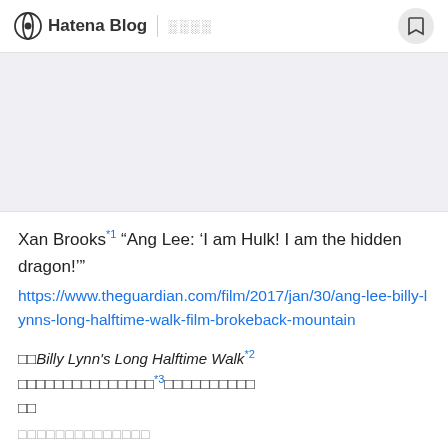Hatena Blog | oooo
[Figure (other): Gray advertisement placeholder area]
Xan Brooks*1 “Ang Lee: ‘I am Hulk! I am the hidden dragon!’”
https://www.theguardian.com/film/2017/jan/30/ang-lee-billy-lynns-long-halftime-walk-film-brokeback-mountain
□□Billy Lynn’s Long Halftime Walk*2 □□□□□□□□□□□□□□□*3□□□□□□□□□□
□□□□□□□□□□□□□□